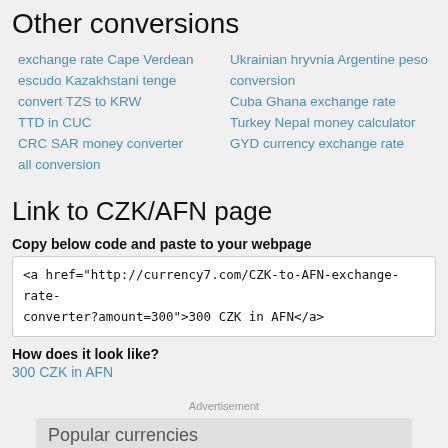Other conversions
exchange rate Cape Verdean escudo Kazakhstani tenge
convert TZS to KRW
TTD in CUC
CRC SAR money converter
all conversion
Ukrainian hryvnia Argentine peso conversion
Cuba Ghana exchange rate
Turkey Nepal money calculator
GYD currency exchange rate
Link to CZK/AFN page
Copy below code and paste to your webpage
<a href="http://currency7.com/CZK-to-AFN-exchange-rate-converter?amount=300">300 CZK in AFN</a>
How does it look like?
300 CZK in AFN
Advertisement
Popular currencies
USD - United States dollar